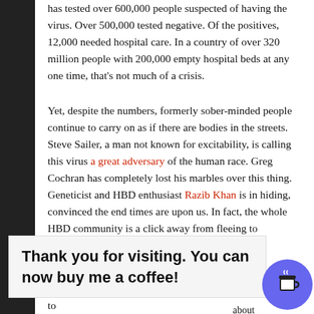has tested over 600,000 people suspected of having the virus. Over 500,000 tested negative. Of the positives, 12,000 needed hospital care. In a country of over 320 million people with 200,000 empty hospital beds at any one time, that's not much of a crisis.
Yet, despite the numbers, formerly sober-minded people continue to carry on as if there are bodies in the streets. Steve Sailer, a man not known for excitability, is calling this virus a great adversary of the human race. Greg Cochran has completely lost his marbles over this thing. Geneticist and HBD enthusiast Razib Khan is in hiding, convinced the end times are upon us. In fact, the whole HBD community is a click away from fleeing to Antarctica to wait out the end of civilization.
Thank you for visiting. You can now buy me a coffee!
"the hospitals being overwhelmed." That's why we have to